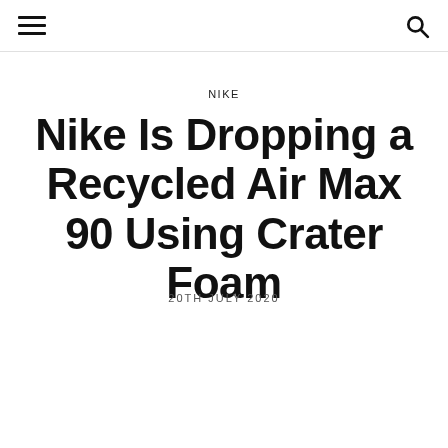☰  🔍
NIKE
Nike Is Dropping a Recycled Air Max 90 Using Crater Foam
20TH JULY 2020